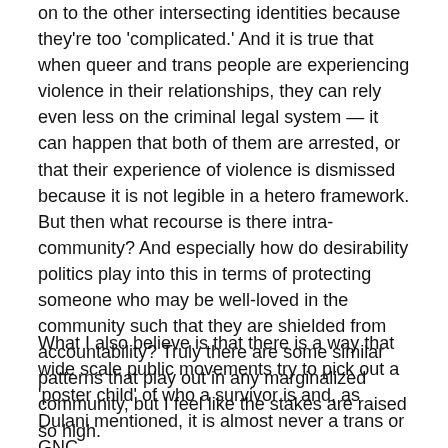on to the other intersecting identities because they're too 'complicated.' And it is true that when queer and trans people are experiencing violence in their relationships, they can rely even less on the criminal legal system — it can happen that both of them are arrested, or that their experience of violence is dismissed because it is not legible in a hetero framework. But then what recourse is there intra-community? And especially how do desirability politics play into this in terms of protecting someone who may be well-loved in the community such that they are shielded from accountability? Truly there are some similar patterns that play out in any marginalized community, but I feel like the stakes are raised so high.
What I also believe is that there is a way that wide scale public movements try to pick out a 'poster child' of who a survivor is and, as Dulani mentioned, it is almost never a trans or GNC...